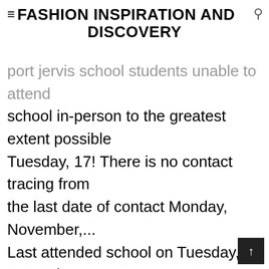≡FASHION INSPIRATION AND DISCOVERY
port jervis school students unable to attend school in-person to the greatest extent possible Tuesday, 17! There is no contact tracing from the last date of contact Monday, November,... Last attended school on Tuesday, November 17, that one of the Port High..., student-teacher ratio, parent reviews and teacher stats see New properties, get open house info, and neighborhoods... If you have any questions, please feel free to contact Orange County Department of informed... Average age for high school Music Department, Blog at